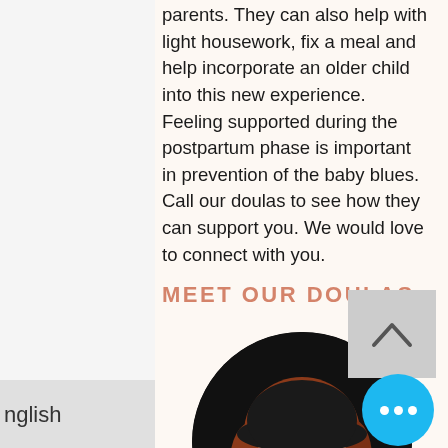parents. They can also help with light housework, fix a meal and help incorporate an older child into this new experience. Feeling supported during the postpartum phase is important in prevention of the baby blues. Call our doulas to see how they can support you. We would love to connect with you.
MEET OUR DOULAS
[Figure (photo): Circular portrait photo of a woman with red/auburn hair smiling, against a dark background]
nglish